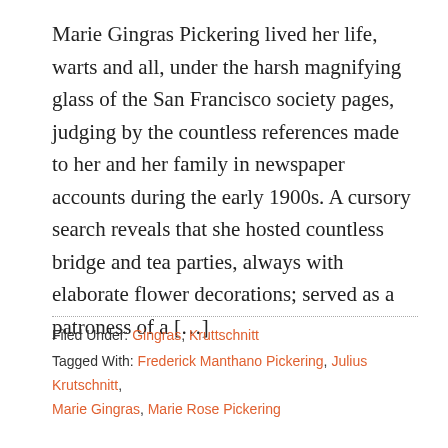Marie Gingras Pickering lived her life, warts and all, under the harsh magnifying glass of the San Francisco society pages, judging by the countless references made to her and her family in newspaper accounts during the early 1900s. A cursory search reveals that she hosted countless bridge and tea parties, always with elaborate flower decorations; served as a patroness of a […]
Filed Under: Gingras, Kruttschnitt
Tagged With: Frederick Manthano Pickering, Julius Krutschnitt, Marie Gingras, Marie Rose Pickering